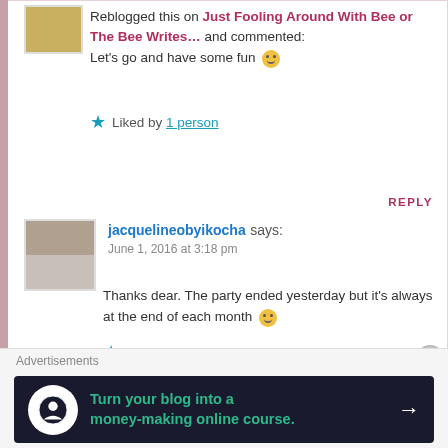[Figure (photo): Small avatar thumbnail showing a yellow/green landscape image]
Reblogged this on Just Fooling Around With Bee or The Bee Writes… and commented:
Let's go and have some fun 🙂
★ Liked by 1 person
REPLY
[Figure (photo): Avatar image of jacquelineobyikocha showing a woman's photo]
jacquelineobyikocha says:
June 1, 2016 at 3:18 pm
Thanks dear. The party ended yesterday but it's always at the end of each month 🙂
★ Liked by 1 person
Advertisements
[Figure (infographic): Dark advertisement banner: Turn your blog into a money-making online course.]